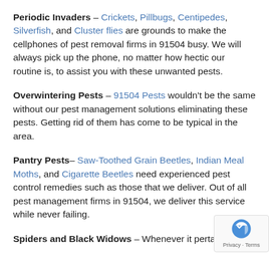Periodic Invaders – Crickets, Pillbugs, Centipedes, Silverfish, and Cluster flies are grounds to make the cellphones of pest removal firms in 91504 busy. We will always pick up the phone, no matter how hectic our routine is, to assist you with these unwanted pests.
Overwintering Pests – 91504 Pests wouldn't be the same without our pest management solutions eliminating these pests. Getting rid of them has come to be typical in the area.
Pantry Pests– Saw-Toothed Grain Beetles, Indian Meal Moths, and Cigarette Beetles need experienced pest control remedies such as those that we deliver. Out of all pest management firms in 91504, we deliver this service while never failing.
Spiders and Black Widows – Whenever it pertains to...